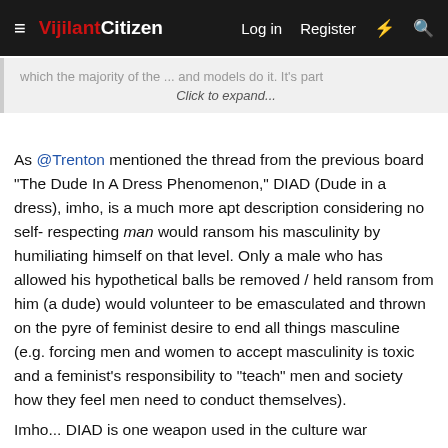VijilantCitizen — Log in  Register
which the majority of the ... and models do it. It's part  Click to expand...
As @Trenton mentioned the thread from the previous board "The Dude In A Dress Phenomenon," DIAD (Dude in a dress), imho, is a much more apt description considering no self-respecting man would ransom his masculinity by humiliating himself on that level. Only a male who has allowed his hypothetical balls be removed / held ransom from him (a dude) would volunteer to be emasculated and thrown on the pyre of feminist desire to end all things masculine (e.g. forcing men and women to accept masculinity is toxic and a feminist's responsibility to "teach" men and society how they feel men need to conduct themselves).
Imho... DIAD is one weapon used in the culture war (currently